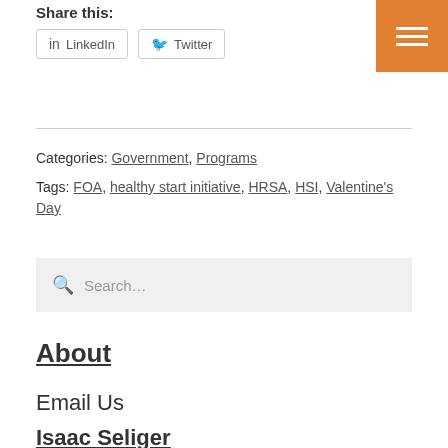Share this:
LinkedIn   Twitter
Categories: Government, Programs
Tags: FOA, healthy start initiative, HRSA, HSI, Valentine's Day
Search…
About
Email Us
Isaac Seliger